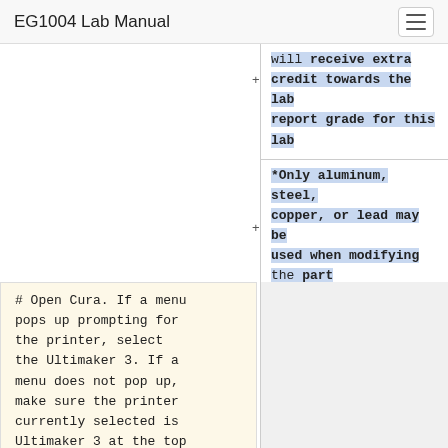EG1004 Lab Manual
will receive extra credit towards the lab report grade for this lab
*Only aluminum, steel, copper, or lead may be used when modifying the part
# Open Cura. If a menu pops up prompting for the printer, select the Ultimaker 3. If a menu does not pop up, make sure the printer currently selected is Ultimaker 3 at the top left corner.